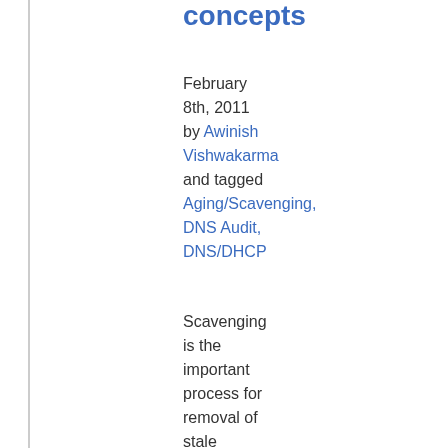concepts
February 8th, 2011 by Awinish Vishwakarma and tagged Aging/Scavenging, DNS Audit, DNS/DHCP
Scavenging is the important process for removal of stale records from DNS